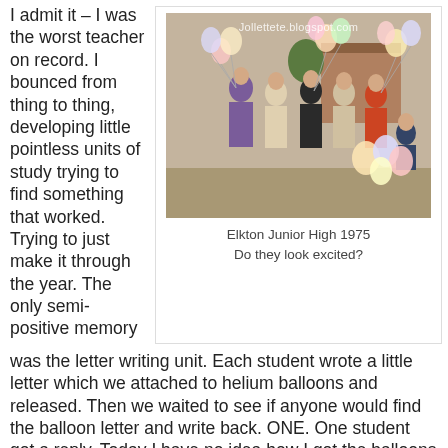I admit it – I was the worst teacher on record. I bounced from thing to thing, developing little pointless units of study trying to find something that worked. Trying to just make it through the year. The only semi-positive memory
[Figure (photo): Vintage photo of students holding balloons outdoors, Elkton Junior High 1975, with watermark Jollettete.blogspot.com]
Elkton Junior High 1975
Do they look excited?
was the letter writing unit. Each student wrote a little letter which we attached to helium balloons and released. Then we waited to see if anyone would find the balloon letter and write back. ONE. One student got a reply. Today I have no idea how I got the balloons to school!
The next year was the BEST idea (well, really it wasn't)...